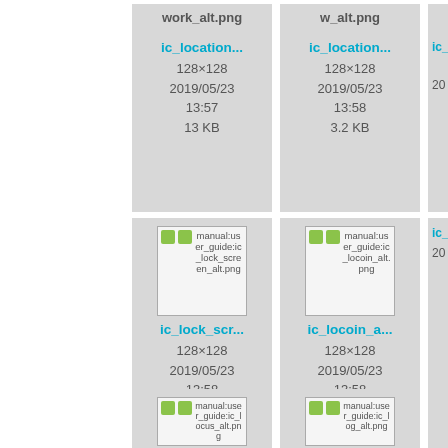[Figure (screenshot): File browser grid view showing image file thumbnails with metadata. Row 1: ic_location... (128x128, 2019/05/23 13:57, 13 KB), ic_location... (128x128, 2019/05/23 13:58, 3.2 KB), partial third card. Row 2: ic_lock_scr... (manual:user_guide:ic_lock_screen_alt.png, 128x128, 2019/05/23 13:58, 1.3 KB), ic_locoin_a... (manual:user_guide:ic_locoin_alt.png, 128x128, 2019/05/23 13:58, 9.2 KB), partial third card. Row 3: two partial cards with manual:user_guide:ic_locus_alt.png and manual:user_guide:ic_log_alt.png.]